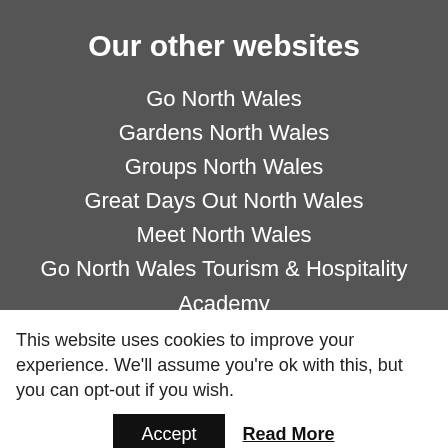Our other websites
Go North Wales
Gardens North Wales
Groups North Wales
Great Days Out North Wales
Meet North Wales
Go North Wales Tourism & Hospitality Academy
Trade Site North Wales Tourism
This website uses cookies to improve your experience. We'll assume you're ok with this, but you can opt-out if you wish.
Accept
Read More